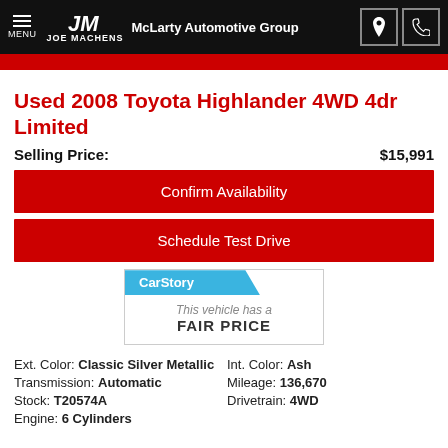MENU JOE MACHENS McLarty Automotive Group
Used 2008 Toyota Highlander 4WD 4dr Limited
Selling Price: $15,991
Confirm Availability
Schedule Test Drive
[Figure (logo): CarStory badge — This vehicle has a FAIR PRICE]
Ext. Color: Classic Silver Metallic
Int. Color: Ash
Transmission: Automatic
Mileage: 136,670
Stock: T20574A
Drivetrain: 4WD
Engine: 6 Cylinders